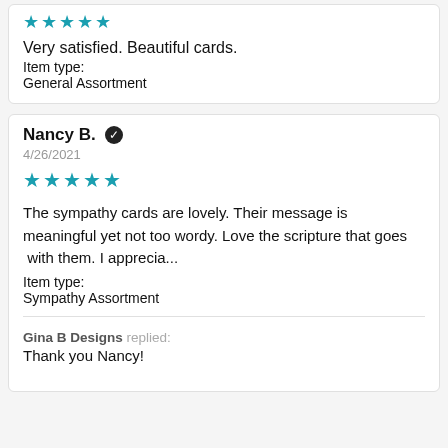[Figure (other): 5 teal/blue star rating icons (partial top of first review card)]
Very satisfied. Beautiful cards.
Item type:
General Assortment
Nancy B. ✓
4/26/2021
[Figure (other): 5 teal/blue star rating icons for Nancy B. review]
The sympathy cards are lovely. Their message is meaningful yet not too wordy. Love the scripture that goes  with them. I apprecia...
Item type:
Sympathy Assortment
Gina B Designs replied: Thank you Nancy!